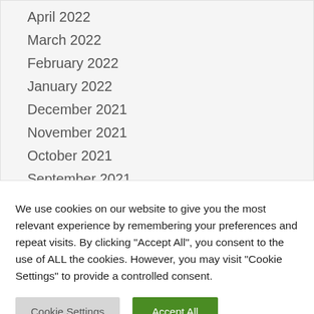April 2022
March 2022
February 2022
January 2022
December 2021
November 2021
October 2021
September 2021
August 2021
June 2021
We use cookies on our website to give you the most relevant experience by remembering your preferences and repeat visits. By clicking "Accept All", you consent to the use of ALL the cookies. However, you may visit "Cookie Settings" to provide a controlled consent.
Cookie Settings | Accept All